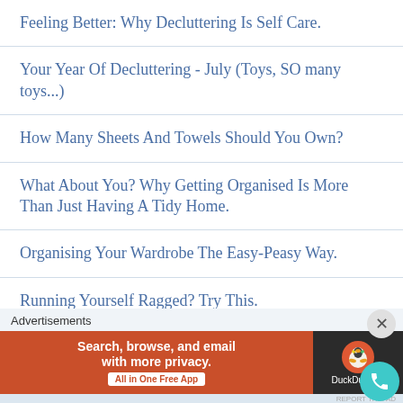Feeling Better: Why Decluttering Is Self Care.
Your Year Of Decluttering - July (Toys, SO many toys...)
How Many Sheets And Towels Should You Own?
What About You? Why Getting Organised Is More Than Just Having A Tidy Home.
Organising Your Wardrobe The Easy-Peasy Way.
Running Yourself Ragged? Try This.
5 Simple Steps You Can Take To Control Your Family Chaos.
[Figure (screenshot): DuckDuckGo advertisement banner: 'Search, browse, and email with more privacy. All in One Free App' with DuckDuckGo logo on dark background]